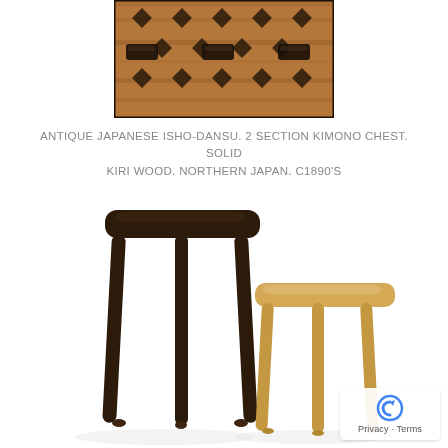[Figure (photo): Close-up photo of an antique Japanese Isho-Dansu kimono chest showing decorative metal hardware and wooden surface with geometric patterns]
ANTIQUE JAPANESE ISHO-DANSU. 2 SECTION KIMONO CHEST. SOLID KIRI WOOD. NORTHERN JAPAN. C1890'S
[Figure (photo): Product photo of two wooden stools with three legs each - one dark walnut finish (tall) and one light natural wood finish (shorter), both with rounded rectangular tops, photographed on white background]
[Figure (logo): Google reCAPTCHA badge with Privacy and Terms links]